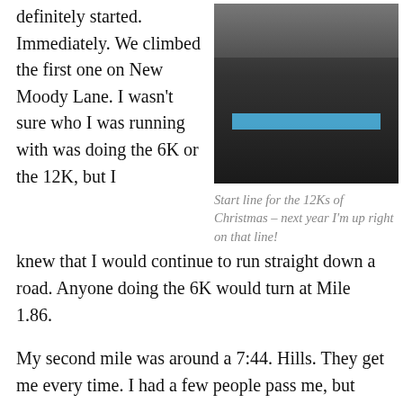definitely started. Immediately. We climbed the first one on New Moody Lane. I wasn't sure who I was running with was doing the 6K or the 12K, but I knew that I would continue to run straight down a road. Anyone doing the 6K would turn at Mile 1.86.
[Figure (photo): Start line area for the 12Ks of Christmas race, showing a blue painted line on dark pavement with metal truss gate structure and runners' legs visible in background]
Start line for the 12Ks of Christmas – next year I'm up right on that line!
My second mile was around a 7:44. Hills. They get me every time. I had a few people pass me, but they were either men or dogs at this point. I did reach the turn around point and only a few turned. I stayed the course with the rest and just really was feeling strong at the moment. And I knew all I had to do was run straight down